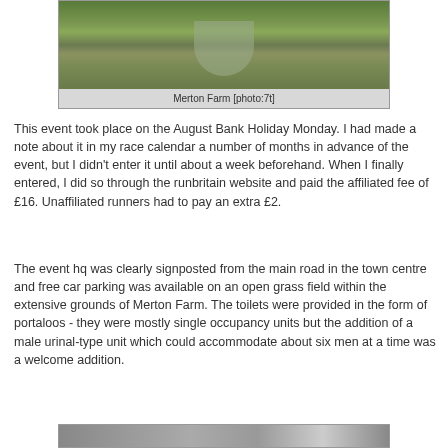[Figure (photo): Farm driveway with wooden fence posts and a gravel path leading to a red-brick building, with sheep/animals visible in a green grass field. Overcast sky.]
Merton Farm [photo:7t]
This event took place on the August Bank Holiday Monday. I had made a note about it in my race calendar a number of months in advance of the event, but I didn't enter it until about a week beforehand. When I finally entered, I did so through the runbritain website and paid the affiliated fee of £16. Unaffiliated runners had to pay an extra £2.
The event hq was clearly signposted from the main road in the town centre and free car parking was available on an open grass field within the extensive grounds of Merton Farm. The toilets were provided in the form of portaloos - they were mostly single occupancy units but the addition of a male urinal-type unit which could accommodate about six men at a time was a welcome addition.
[Figure (photo): Partial photo visible at bottom of page - appears to be another farm or event location photo, partially cropped.]